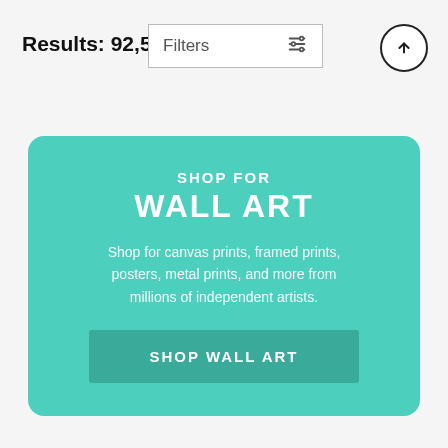Results: 92,540
Filters
SHOP FOR WALL ART
Shop for canvas prints, framed prints, posters, metal prints, and more from millions of independent artists.
SHOP WALL ART